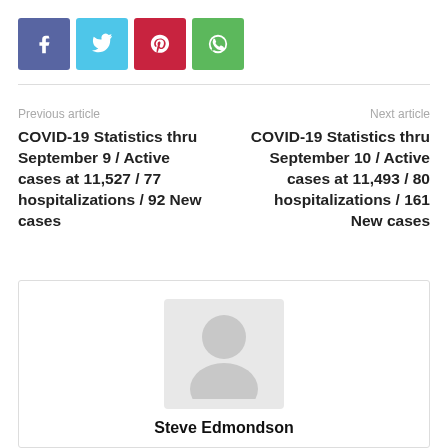[Figure (other): Social media sharing icons: Facebook (blue-purple), Twitter (light blue), Pinterest (red), WhatsApp (green)]
Previous article
Next article
COVID-19 Statistics thru September 9 / Active cases at 11,527 / 77 hospitalizations / 92 New cases
COVID-19 Statistics thru September 10 / Active cases at 11,493 / 80 hospitalizations / 161 New cases
[Figure (photo): Author avatar placeholder (grey silhouette)]
Steve Edmondson